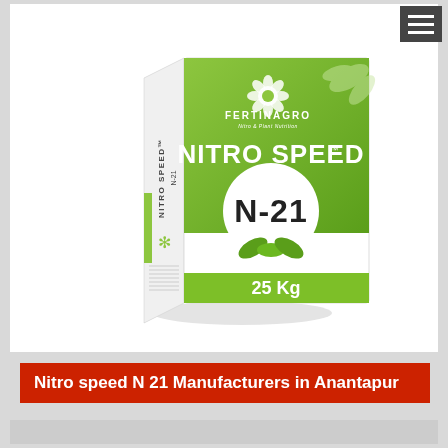[Figure (photo): Product package box for Fertinagro Nitro Speed N-21 fertilizer, 25 Kg, green and white box with leaf design]
Nitro speed N 21 Manufacturers in Anantapur